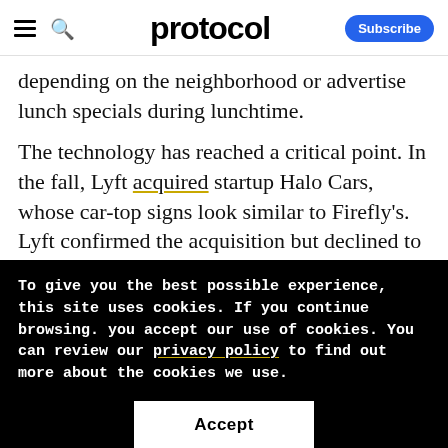protocol — Subscribe
depending on the neighborhood or advertise lunch specials during lunchtime.
The technology has reached a critical point. In the fall, Lyft acquired startup Halo Cars, whose car-top signs look similar to Firefly's. Lyft confirmed the acquisition but declined to
To give you the best possible experience, this site uses cookies. If you continue browsing. you accept our use of cookies. You can review our privacy policy to find out more about the cookies we use.
Accept